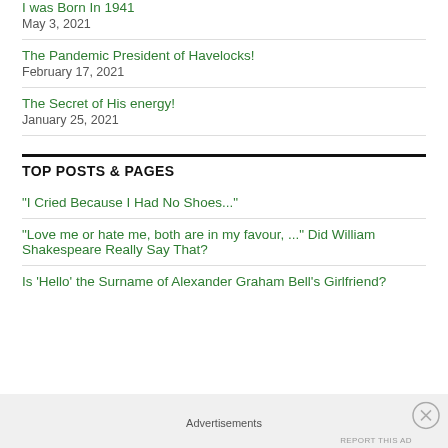I was Born In 1941
May 3, 2021
The Pandemic President of Havelocks!
February 17, 2021
The Secret of His energy!
January 25, 2021
TOP POSTS & PAGES
"I Cried Because I Had No Shoes..."
"Love me or hate me, both are in my favour, ..." Did William Shakespeare Really Say That?
Is 'Hello' the Surname of Alexander Graham Bell's Girlfriend?
Advertisements